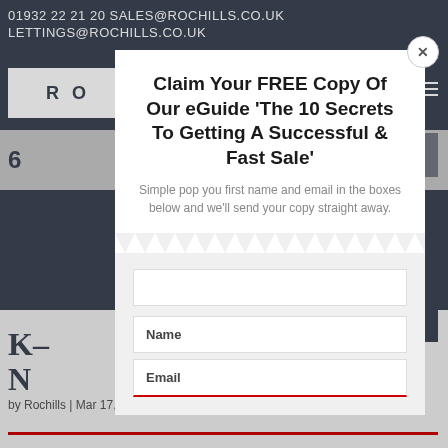01932 22 21 20 SALES@ROCHILLS.CO.UK
LETTINGS@ROCHILLS.CO.UK
[Figure (screenshot): Website header with logo 'RO' and navigation hamburger menu]
Claim Your FREE Copy Of Our eGuide 'The 10 Secrets To Getting A Successful & Fast Sale'
Simple pop you first name and email in the boxes below and we'll send your copy straight away.
Name
Email
by Rochills | Mar 17, 2017 | Market Updates